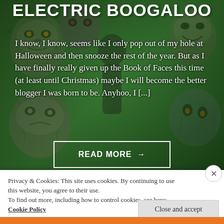[Figure (illustration): Green horror monster illustration background with classic movie monster faces (Dracula, zombie, creature from the black lagoon, etc.) on a dark green background with black stars]
ELECTRIC BOOGALOO
I know, I know, seems like I only pop out of my hole at Halloween and then snooze the rest of the year. But as I have finally really given up the Book of Faces this time (at least until Christmas) maybe I will become the better blogger I was born to be. Anyhoo, I [...]
READ MORE →
Privacy & Cookies: This site uses cookies. By continuing to use this website, you agree to their use.
To find out more, including how to control cookies, see here: Cookie Policy
Close and accept